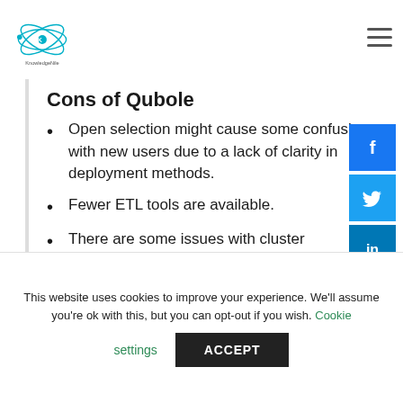KnowledgeNile logo and navigation
Cons of Qubole
Open selection might cause some confusion with new users due to a lack of clarity in deployment methods.
Fewer ETL tools are available.
There are some issues with cluster management while deploying for large scale organizations.
This website uses cookies to improve your experience. We'll assume you're ok with this, but you can opt-out if you wish. Cookie settings ACCEPT